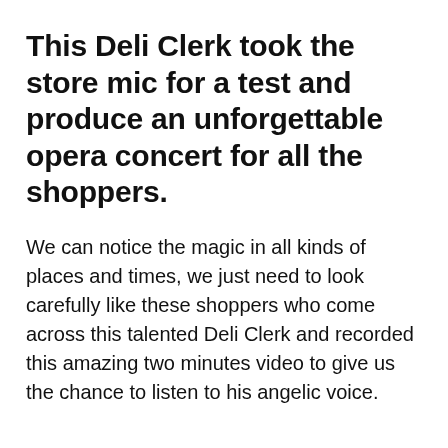This Deli Clerk took the store mic for a test and produce an unforgettable opera concert for all the shoppers.
We can notice the magic in all kinds of places and times, we just need to look carefully like these shoppers who come across this talented Deli Clerk and recorded this amazing two minutes video to give us the chance to listen to his angelic voice.